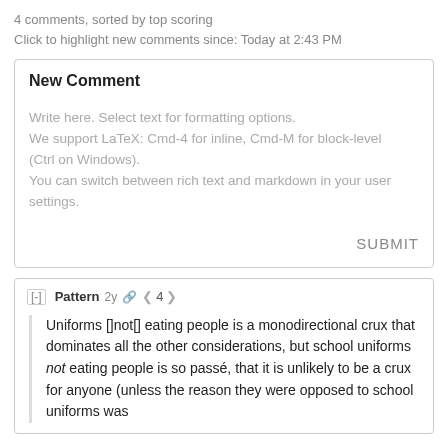4 comments, sorted by top scoring
Click to highlight new comments since: Today at 2:43 PM
New Comment
Write here. Select text for formatting options.
We support LaTeX: Cmd-4 for inline, Cmd-M for block-level (Ctrl on Windows).
You can switch between rich text and markdown in your user settings.
SUBMIT
[-] Pattern  2y  < 4 >
Uniforms []not[] eating people is a monodirectional crux that dominates all the other considerations, but school uniforms not eating people is so passé, that it is unlikely to be a crux for anyone (unless the reason they were opposed to school uniforms was